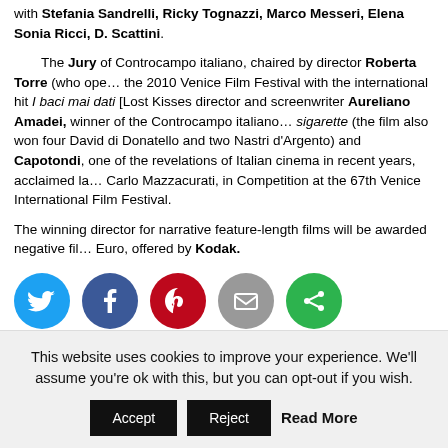with Stefania Sandrelli, Ricky Tognazzi, Marco Messeri, Elena Sofia Ricci, D. Scattini.
The Jury of Controcampo italiano, chaired by director Roberta Torre (who opened the 2010 Venice Film Festival with the international hit I baci mai dati [Lost Kisses]), director and screenwriter Aureliano Amadei, winner of the Controcampo italiano for 20 sigarette (the film also won four David di Donatello and two Nastri d'Argento) and Capotondi, one of the revelations of Italian cinema in recent years, acclaimed last year by Carlo Mazzacurati, in Competition at the 67th Venice International Film Festival.
The winning director for narrative feature-length films will be awarded negative film worth Euro, offered by Kodak.
[Figure (infographic): Row of 5 social sharing icons: Twitter (blue), Facebook (dark blue), Pinterest (red), Email (grey), and a green share icon.]
This website uses cookies to improve your experience. We'll assume you're ok with this, but you can opt-out if you wish. Accept  Reject  Read More